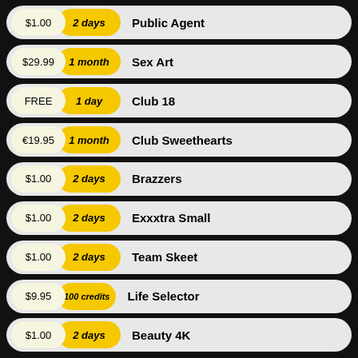$1.00 | 2 days | Public Agent
$29.99 | 1 month | Sex Art
FREE | 1 day | Club 18
€19.95 | 1 month | Club Sweethearts
$1.00 | 2 days | Brazzers
$1.00 | 2 days | Exxxtra Small
$1.00 | 2 days | Team Skeet
$9.95 | 100 credits | Life Selector
$1.00 | 2 days | Beauty 4K